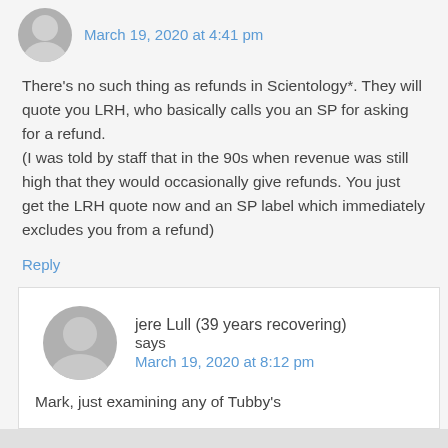March 19, 2020 at 4:41 pm
There's no such thing as refunds in Scientology*. They will quote you LRH, who basically calls you an SP for asking for a refund.
(I was told by staff that in the 90s when revenue was still high that they would occasionally give refunds. You just get the LRH quote now and an SP label which immediately excludes you from a refund)
Reply
jere Lull (39 years recovering) says
March 19, 2020 at 8:12 pm
Mark, just examining any of Tubby's